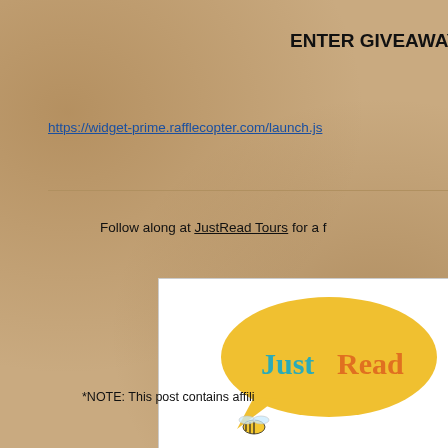ENTER GIVEAWAY HE
https://widget-prime.rafflecopter.com/launch.js
Follow along at JustRead Tours for a f
[Figure (logo): JustRead Tours logo: speech bubble in yellow with 'JustRead' text in teal/orange, bee above an open book]
*NOTE: This post contains affili
Rate this: 1 Vote
Share this: